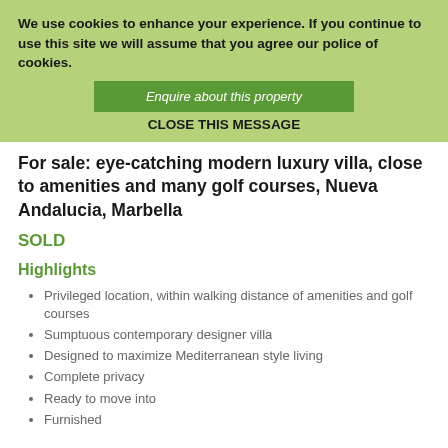We use cookies to enhance your experience. If you continue to use this site we will assume that you agree our police of cookies.
Enquire about this property
CLOSE THIS MESSAGE
For sale: eye-catching modern luxury villa, close to amenities and many golf courses, Nueva Andalucia, Marbella
SOLD
Highlights
Privileged location, within walking distance of amenities and golf courses
Sumptuous contemporary designer villa
Designed to maximize Mediterranean style living
Complete privacy
Ready to move into
Furnished